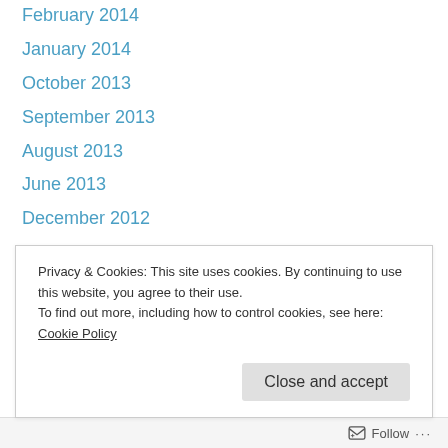February 2014
January 2014
October 2013
September 2013
August 2013
June 2013
December 2012
September 2012
June 2012
May 2012
April 2012
March 2012
February 2012
January 2012
Privacy & Cookies: This site uses cookies. By continuing to use this website, you agree to their use.
To find out more, including how to control cookies, see here: Cookie Policy
Close and accept
Follow